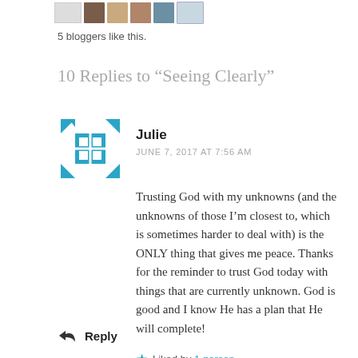[Figure (other): Row of blogger avatar thumbnails at the top of the page]
5 bloggers like this.
10 Replies to “Seeing Clearly”
[Figure (other): Commenter avatar - blue and white geometric quilt-pattern square icon for Julie]
Julie
JUNE 7, 2017 AT 7:56 AM
Trusting God with my unknowns (and the unknowns of those I’m closest to, which is sometimes harder to deal with) is the ONLY thing that gives me peace. Thanks for the reminder to trust God today with things that are currently unknown. God is good and I know He has a plan that He will complete!
Liked by 1 person
Reply